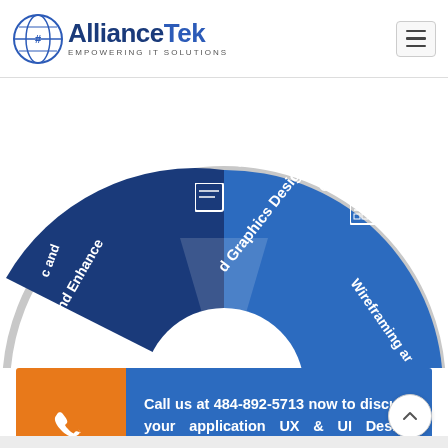[Figure (logo): AllianceTek logo with globe icon and tagline 'Empowering IT Solutions']
[Figure (infographic): Partial circular pie/wheel diagram showing UX/UI design services. Visible segments include: blue segment labeled 'and Graphics Design', red/pink segment labeled 'Wireframing and Proto' (Prototyping), and partial dark segment on the left labeled 'and Enhance'. White icons visible on segments.]
Call us at 484-892-5713 now to discuss your application UX & UI Design requirements.